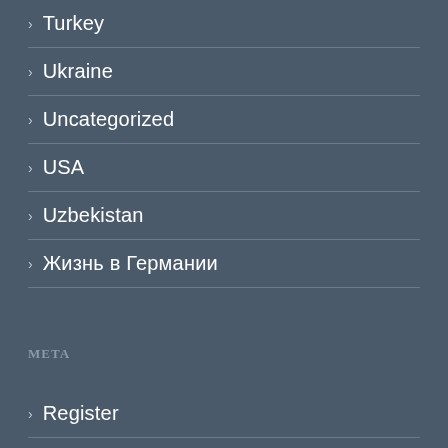> Turkey
> Ukraine
> Uncategorized
> USA
> Uzbekistan
> Жизнь в Германии
Meta
> Register
> Log in